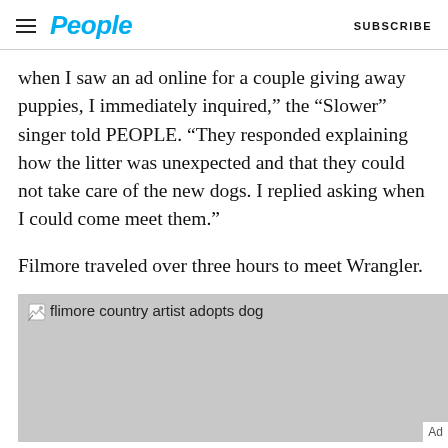People | SUBSCRIBE
when I saw an ad online for a couple giving away puppies, I immediately inquired,” the “Slower” singer told PEOPLE. “They responded explaining how the litter was unexpected and that they could not take care of the new dogs. I replied asking when I could come meet them.”
Filmore traveled over three hours to meet Wrangler.
[Figure (photo): Gray placeholder image with broken image icon and alt text reading ‘flimore country artist adopts dog’. An Ad label is visible in the bottom right.]